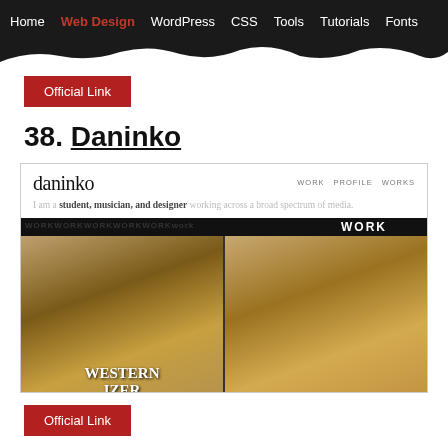Home | Web Design | WordPress | CSS | Tools | Tutorials | Fonts
Official Link
38. Daninko
[Figure (screenshot): Screenshot of the Daninko website showing the site logo 'daninko', navigation links WORK, PROFILE, WORKS, tagline 'I am a student, musician, and designer working across a broad spectrum of media.', a dark section with WORK text, and portfolio images showing notebooks/books on a wooden surface with text 'WESTERNIZER']
Official Link